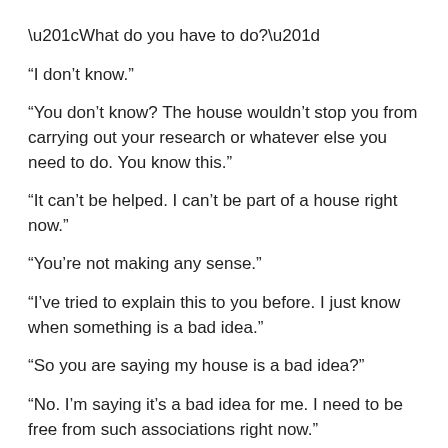“What do you have to do?”
“I don’t know.”
“You don’t know? The house wouldn’t stop you from carrying out your research or whatever else you need to do. You know this.”
“It can’t be helped. I can’t be part of a house right now.”
“You’re not making any sense.”
“I’ve tried to explain this to you before. I just know when something is a bad idea.”
“So you are saying my house is a bad idea?”
“No. I’m saying it’s a bad idea for me. I need to be free from such associations right now.”